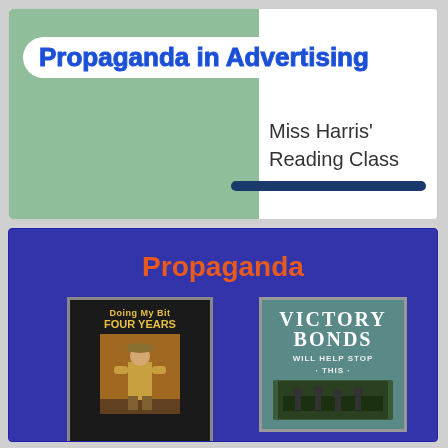Propaganda in Advertising
Miss Harris' Reading Class
Propaganda
[Figure (illustration): Vintage propaganda poster with text 'Doing My Bit FOUR YEARS' and a figure of a soldier in yellow/brown uniform]
[Figure (illustration): VICTORY BONDS WILL HELP STOP THIS - vintage war propaganda poster with teal/green background]